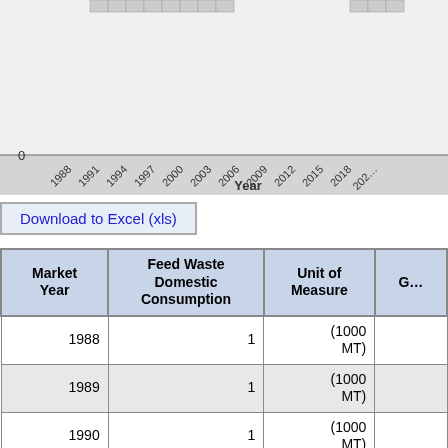[Figure (continuous-plot): Partial view of a line/bar chart showing data by Year (x-axis labels: 1988, 1991, 1994, 1997, 2000, 2003, 2006, 2009, 2012, 2015, 2018, 2021), with y-axis starting at 0. Chart background is gray.]
Download to Excel (xls)
| Market Year | Feed Waste Domestic Consumption | Unit of Measure | G... |
| --- | --- | --- | --- |
| 1988 | 1 | (1000 MT) |  |
| 1989 | 1 | (1000 MT) |  |
| 1990 | 1 | (1000 MT) |  |
| 1991 | 1 | (1000 MT) |  |
| 1992 | 1 | (1000 MT) |  |
| 1993 | 2 | (1000 MT) | 10 |
| 1994 | 2 | (1000 MT) |  |